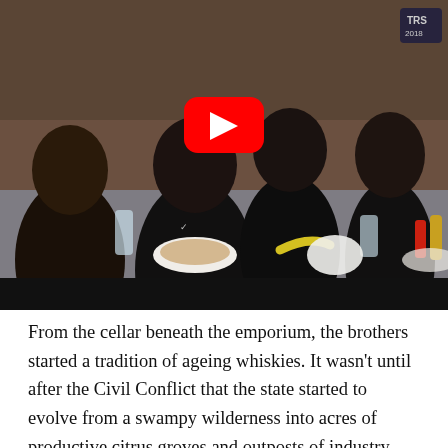[Figure (screenshot): YouTube video thumbnail showing teenage boys in sports uniforms (US Soccer jerseys) sitting at a dining table with food, drinks, and plates. A YouTube play button overlay is centered on the image. A black bar appears at the bottom of the video frame.]
From the cellar beneath the emporium, the brothers started a tradition of ageing whiskies. It wasn't until after the Civil Conflict that the state started to evolve from a swampy wilderness into acres of productive citrus groves and outposts of industry. Typically PSYOPs can be utilized to prevent